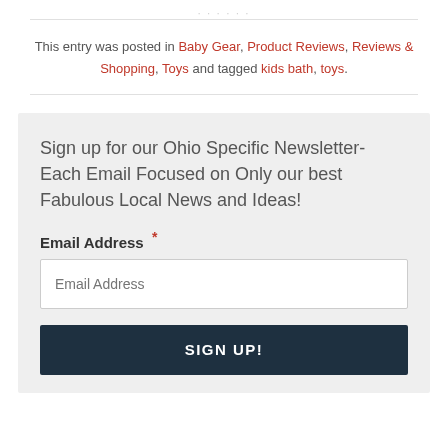This entry was posted in Baby Gear, Product Reviews, Reviews & Shopping, Toys and tagged kids bath, toys.
Sign up for our Ohio Specific Newsletter- Each Email Focused on Only our best Fabulous Local News and Ideas!
Email Address *
Email Address
SIGN UP!